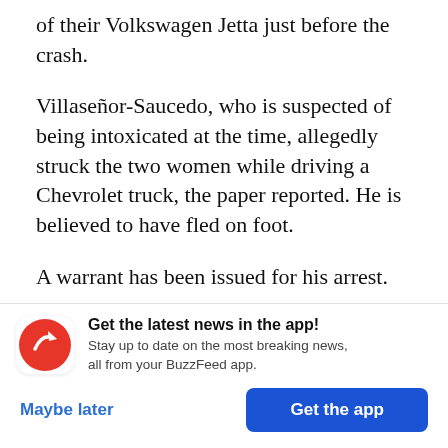of their Volkswagen Jetta just before the crash.
Villaseñor-Saucedo, who is suspected of being intoxicated at the time, allegedly struck the two women while driving a Chevrolet truck, the paper reported. He is believed to have fled on foot.
A warrant has been issued for his arrest.
Villaseñor-Saucedo was last deported on May 13, 2013, according to the US Attorney's Office in
[Figure (infographic): BuzzFeed app promotion banner with red circular logo showing white trending arrow, bold text 'Get the latest news in the app!', subtitle 'Stay up to date on the most breaking news, all from your BuzzFeed app.', with 'Maybe later' and 'Get the app' buttons.]